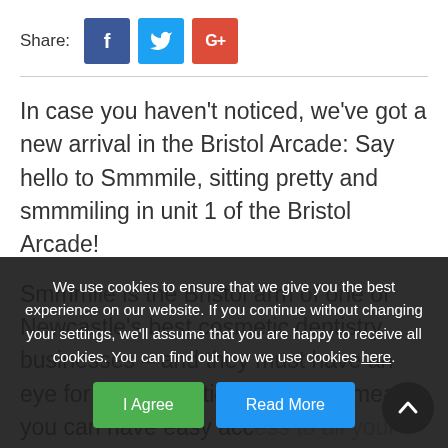Share: [Facebook] [Twitter] [Google+]
In case you haven't noticed, we've got a new arrival in the Bristol Arcade: Say hello to Smmmile, sitting pretty and smmmiling in unit 1 of the Bristol Arcade!
Smmmile is the Bristol arm of one of Newcastle's best cosmetic dentistry businesses – and they must have an eye for prime locations too, as it means you can have easy access to all your cosmetic dentistry needs, right here in Broadmead and the Bristol Arcade!
We use cookies to ensure that we give you the best experience on our website. If you continue without changing your settings, we'll assume that you are happy to receive all cookies. You can find out how we use cookies here.